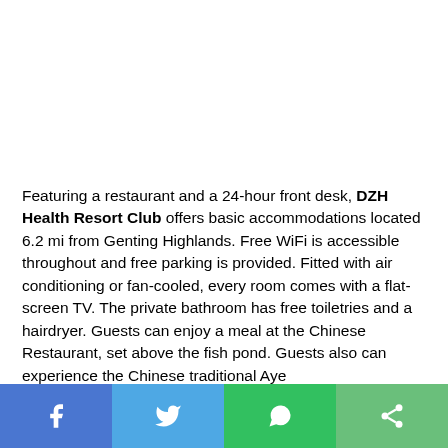Featuring a restaurant and a 24-hour front desk, DZH Health Resort Club offers basic accommodations located 6.2 mi from Genting Highlands. Free WiFi is accessible throughout and free parking is provided. Fitted with air conditioning or fan-cooled, every room comes with a flat-screen TV. The private bathroom has free toiletries and a hairdryer. Guests can enjoy a meal at the Chinese Restaurant, set above the fish pond. Guests also can experience the Chinese traditional Aye